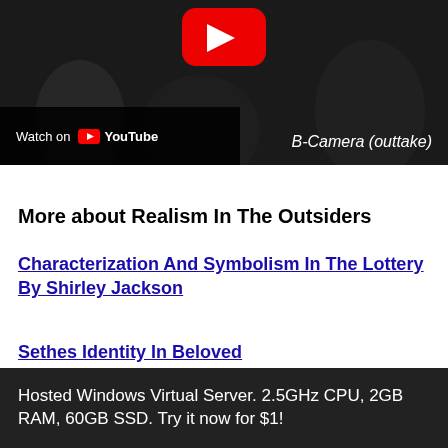[Figure (screenshot): YouTube video thumbnail showing a dark scene with a YouTube play button and a 'Watch on YouTube' bar at the bottom left. Text 'B-Camera (outtake)' appears at the bottom right.]
More about Realism In The Outsiders
Characterization And Symbolism In The Lottery By Shirley Jackson
Sethes Identity In Beloved
Hosted Windows Virtual Server. 2.5GHz CPU, 2GB RAM, 60GB SSD. Try it now for $1!